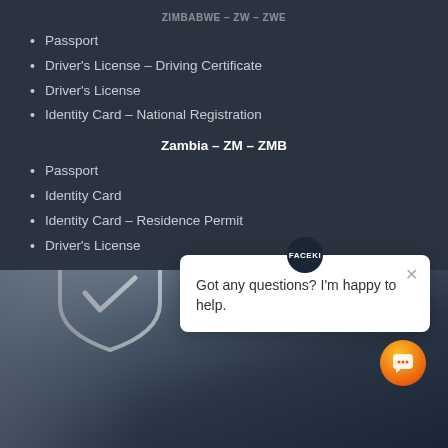Passport
Driver's License – Driving Certificate
Driver's License
Identity Card – National Registration
Zambia – ZM – ZMB
Passport
Identity Card
Identity Card – Residence Permit
Driver's License
[Figure (photo): Black and white photo of a person holding a glowing shield checkmark symbol]
Got any questions? I'm happy to help.